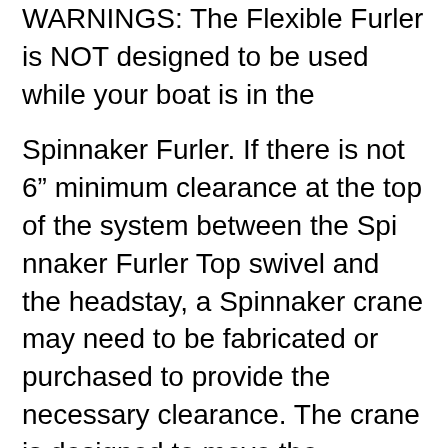WARNINGS: The Flexible Furler is NOT designed to be used while your boat is in the
Spinnaker Furler. If there is not 6" minimum clearance at the top of the system between the Spi nnaker Furler Top swivel and the headstay, a Spinnaker crane may need to be fabricated or purchased to provide the necessary clearance. The crane is designed to move the Spinnaker halyard CDI Furlers are flexible roller furler that work with your genoa and jib sails. Weekend sailboats as well as coastal cruisers carry the CDI roller furling and reefing system allowing for ease of transportation and durability. The CDI